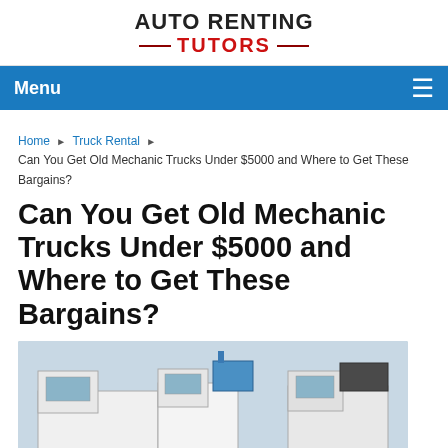AUTO RENTING TUTORS
Menu
Home ▶ Truck Rental ▶ Can You Get Old Mechanic Trucks Under $5000 and Where to Get These Bargains?
Can You Get Old Mechanic Trucks Under $5000 and Where to Get These Bargains?
[Figure (photo): Photo of mechanic/utility trucks parked outdoors under overcast sky]